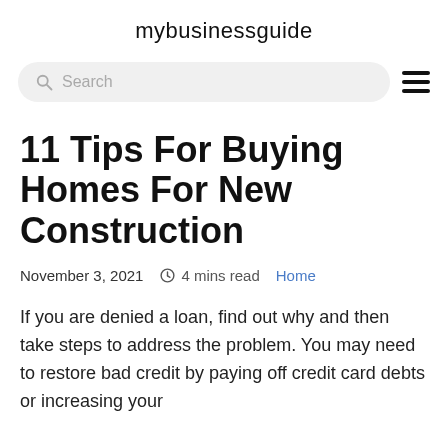mybusinessguide
[Figure (other): Search bar with magnifying glass icon and hamburger menu icon]
11 Tips For Buying Homes For New Construction
November 3, 2021   4 mins read   Home
If you are denied a loan, find out why and then take steps to address the problem. You may need to restore bad credit by paying off credit card debts or increasing your